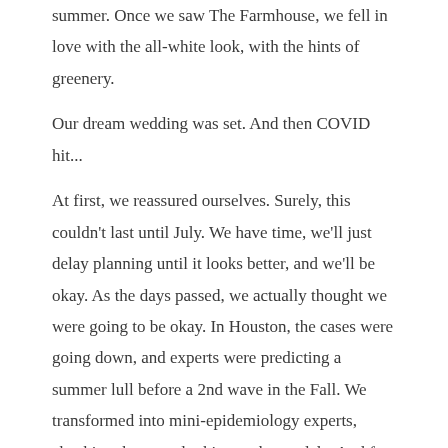summer. Once we saw The Farmhouse, we fell in love with the all-white look, with the hints of greenery.
Our dream wedding was set. And then COVID hit...
At first, we reassured ourselves. Surely, this couldn't last until July. We have time, we'll just delay planning until it looks better, and we'll be okay. As the days passed, we actually thought we were going to be okay. In Houston, the cases were going down, and experts were predicting a summer lull before a 2nd wave in the Fall. We transformed into mini-epidemiology experts, checking the stats, looking at the models. And for a period of time, all looked okay. That is until